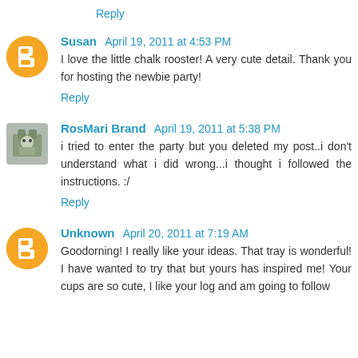Reply
Susan April 19, 2011 at 4:53 PM
I love the little chalk rooster! A very cute detail. Thank you for hosting the newbie party!
Reply
RosMari Brand April 19, 2011 at 5:38 PM
i tried to enter the party but you deleted my post..i don't understand what i did wrong...i thought i followed the instructions. :/
Reply
Unknown April 20, 2011 at 7:19 AM
Goodorning! I really like your ideas. That tray is wonderful! I have wanted to try that but yours has inspired me! Your cups are so cute, I like your log and am going to follow